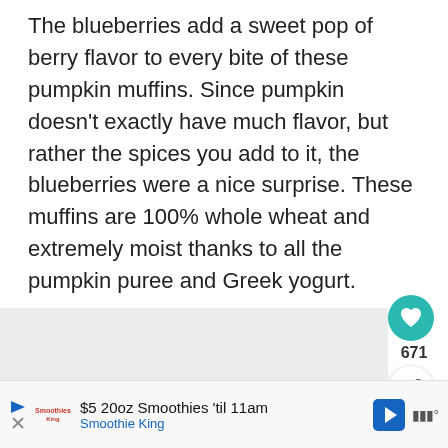The blueberries add a sweet pop of berry flavor to every bite of these pumpkin muffins. Since pumpkin doesn't exactly have much flavor, but rather the spices you add to it, the blueberries were a nice surprise. These muffins are 100% whole wheat and extremely moist thanks to all the pumpkin puree and Greek yogurt.
[Figure (photo): Partial image placeholder visible in the lower middle portion of the page, appears to be a food/muffin photo]
[Figure (infographic): UI overlay with heart/like button showing teal circle with heart icon, count of 671, and a share button below]
WHAT'S NEXT → Blackberry Maple Tahini...
$5 20oz Smoothies 'til 11am Smoothie King